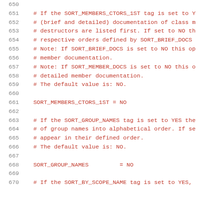650
651  # If the SORT_MEMBERS_CTORS_1ST tag is set to Y
652  # (brief and detailed) documentation of class m
653  # destructors are listed first. If set to NO th
654  # respective orders defined by SORT_BRIEF_DOCS
655  # Note: If SORT_BRIEF_DOCS is set to NO this op
656  # member documentation.
657  # Note: If SORT_MEMBER_DOCS is set to NO this o
658  # detailed member documentation.
659  # The default value is: NO.
660
661  SORT_MEMBERS_CTORS_1ST = NO
662
663  # If the SORT_GROUP_NAMES tag is set to YES the
664  # of group names into alphabetical order. If se
665  # appear in their defined order.
666  # The default value is: NO.
667
668  SORT_GROUP_NAMES        = NO
669
670  # If the SORT_BY_SCOPE_NAME tag is set to YES,